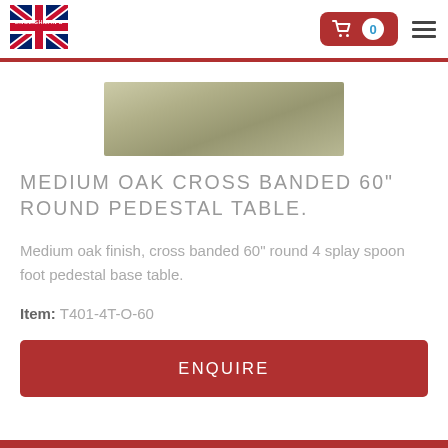[Figure (logo): Englishman's logo with Union Jack flag]
[Figure (photo): Product image of medium oak cross banded pedestal table top surface]
MEDIUM OAK CROSS BANDED 60" ROUND PEDESTAL TABLE.
Medium oak finish, cross banded 60" round 4 splay spoon foot pedestal base table.
Item: T401-4T-O-60